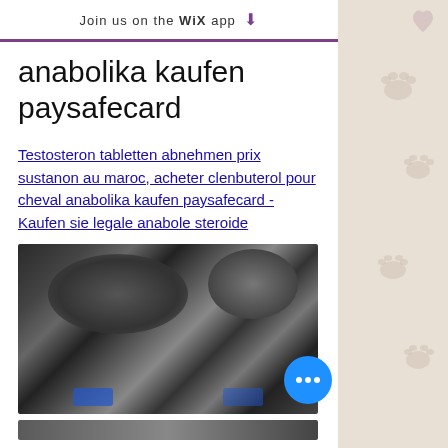Join us on the WiX app ↓
anabolika kaufen paysafecard
Testosteron tabletten abnehmen prix sustanon au maroc, acheter clenbuterol pour cheval anabolika kaufen paysafecard - Kaufen sie legale anabole steroide
[Figure (photo): Blurred/obscured dark image, appears to show figures or objects, with blue elements at the bottom. A circular blue chat button with three dots overlaid in the bottom-right corner.]